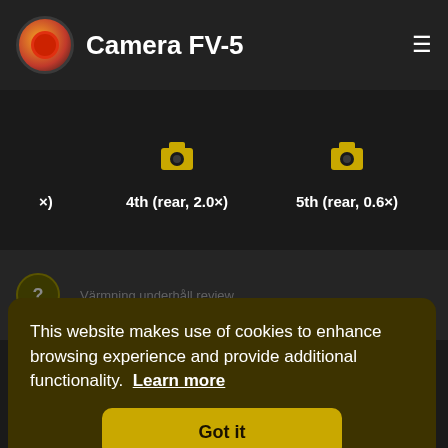Camera FV-5
4th (rear, 2.0×)   5th (rear, 0.6×)   6th (rear, ...)
[Figure (screenshot): Cookie consent banner overlay on Camera FV-5 website with text about cookies and a Got it button]
This website makes use of cookies to enhance browsing experience and provide additional functionality.  Learn more
Got it